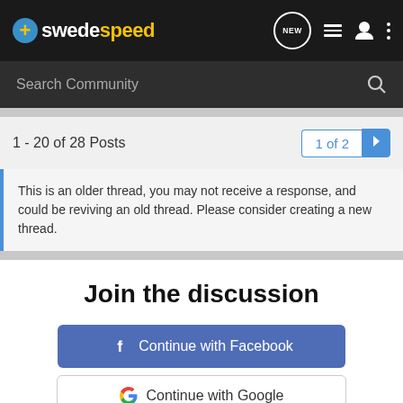swedespeed — navigation bar with logo, NEW bubble, list icon, user icon, dots menu
Search Community
1 - 20 of 28 Posts
1 of 2
This is an older thread, you may not receive a response, and could be reviving an old thread. Please consider creating a new thread.
Join the discussion
Continue with Facebook
Continue with Google
or sign up with email